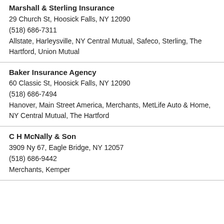Marshall & Sterling Insurance
29 Church St, Hoosick Falls, NY 12090
(518) 686-7311
Allstate, Harleysville, NY Central Mutual, Safeco, Sterling, The Hartford, Union Mutual
Baker Insurance Agency
60 Classic St, Hoosick Falls, NY 12090
(518) 686-7494
Hanover, Main Street America, Merchants, MetLife Auto & Home, NY Central Mutual, The Hartford
C H McNally & Son
3909 Ny 67, Eagle Bridge, NY 12057
(518) 686-9442
Merchants, Kemper